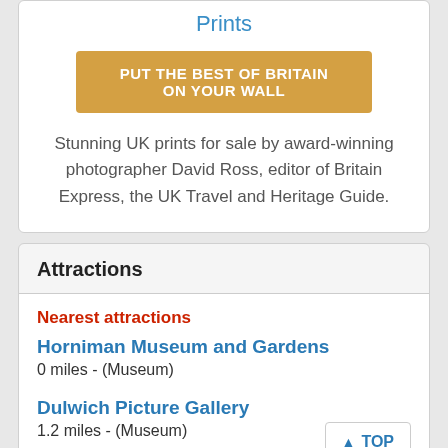Prints
PUT THE BEST OF BRITAIN ON YOUR WALL
Stunning UK prints for sale by award-winning photographer David Ross, editor of Britain Express, the UK Travel and Heritage Guide.
Attractions
Nearest attractions
Horniman Museum and Gardens
0 miles - (Museum)
Dulwich Picture Gallery
1.2 miles - (Museum)